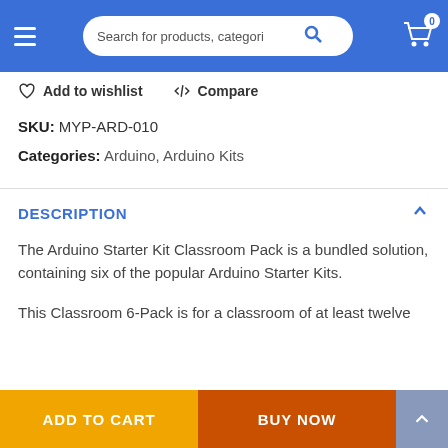Search for products, categories
Add to wishlist   Compare
SKU: MYP-ARD-010
Categories: Arduino, Arduino Kits
DESCRIPTION
The Arduino Starter Kit Classroom Pack is a bundled solution, containing six of the popular Arduino Starter Kits.
This Classroom 6-Pack is for a classroom of at least twelve